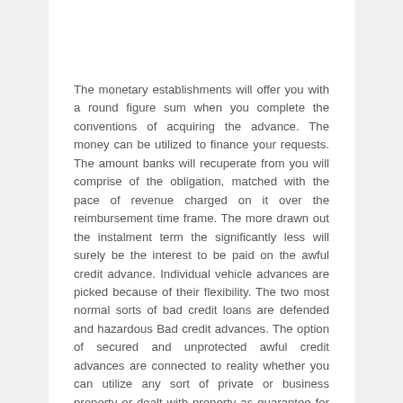The monetary establishments will offer you with a round figure sum when you complete the conventions of acquiring the advance. The money can be utilized to finance your requests. The amount banks will recuperate from you will comprise of the obligation, matched with the pace of revenue charged on it over the reimbursement time frame. The more drawn out the instalment term the significantly less will surely be the interest to be paid on the awful credit advance. Individual vehicle advances are picked because of their flexibility. The two most normal sorts of bad credit loans are defended and hazardous Bad credit advances. The option of secured and unprotected awful credit advances are connected to reality whether you can utilize any sort of private or business property or dealt with property as guarantee for the advance